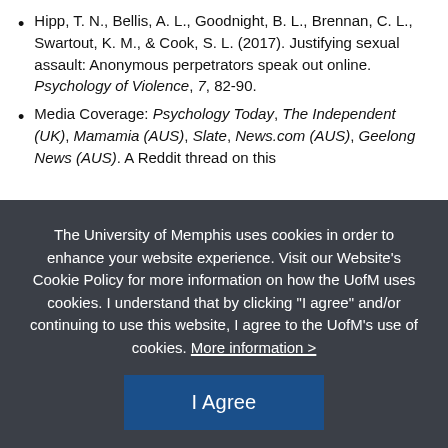Hipp, T. N., Bellis, A. L., Goodnight, B. L., Brennan, C. L., Swartout, K. M., & Cook, S. L. (2017). Justifying sexual assault: Anonymous perpetrators speak out online. Psychology of Violence, 7, 82-90.
Media Coverage: Psychology Today, The Independent (UK), Mamamia (AUS), Slate, News.com (AUS), Geelong News (AUS). A Reddit thread on this publication reached the front page of the website...
The University of Memphis uses cookies in order to enhance your website experience. Visit our Website's Cookie Policy for more information on how the UofM uses cookies. I understand that by clicking "I agree" and/or continuing to use this website, I agree to the UofM's use of cookies. More information >
Dating Violence Across Adolescence. Society for Prevention Research, Washington, DC. [Awarded SPR Abstract of Distinction]